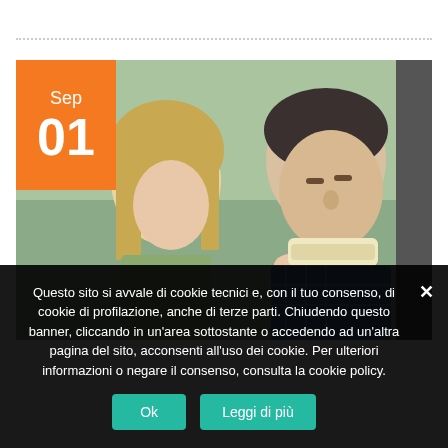[Figure (photo): A woman consoling a man wearing a neck brace/cervical collar, with an orange date badge overlay showing Sep 01]
Questo sito si avvale di cookie tecnici e, con il tuo consenso, di cookie di profilazione, anche di terze parti. Chiudendo questo banner, cliccando in un'area sottostante o accedendo ad un'altra pagina del sito, acconsenti all'uso dei cookie. Per ulteriori informazioni o negare il consenso, consulta la cookie policy.
Ok
Leggi di più